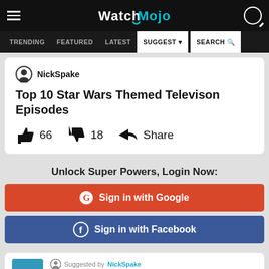WatchMojo navigation header with TRENDING, FEATURED, LATEST, SUGGEST, SEARCH navigation
NickSpake
Top 10 Star Wars Themed Televison Episodes
👍 66   👎 18   ➡ Share
Unlock Super Powers, Login Now:
G Sign in with Google
Sign in with Facebook
Suggested by NickSpake
Family Guy Blue Harvest